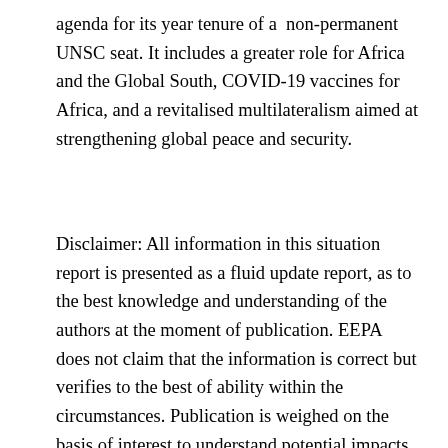agenda for its year tenure of a non-permanent UNSC seat. It includes a greater role for Africa and the Global South, COVID-19 vaccines for Africa, and a revitalised multilateralism aimed at strengthening global peace and security.
Disclaimer: All information in this situation report is presented as a fluid update report, as to the best knowledge and understanding of the authors at the moment of publication. EEPA does not claim that the information is correct but verifies to the best of ability within the circumstances. Publication is weighed on the basis of interest to understand potential impacts of events (or perceptions of these) on the situation. Check all information against updates and other media. EEPA does not take responsibility for the use of the